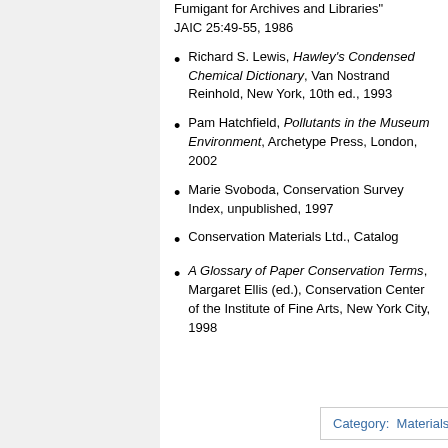Fumigant for Archives and Libraries" JAIC 25:49-55, 1986
Richard S. Lewis, Hawley's Condensed Chemical Dictionary, Van Nostrand Reinhold, New York, 10th ed., 1993
Pam Hatchfield, Pollutants in the Museum Environment, Archetype Press, London, 2002
Marie Svoboda, Conservation Survey Index, unpublished, 1997
Conservation Materials Ltd., Catalog
A Glossary of Paper Conservation Terms, Margaret Ellis (ed.), Conservation Center of the Institute of Fine Arts, New York City, 1998
Category:  Materials database